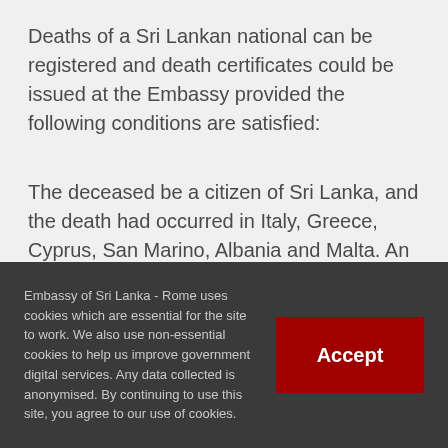Deaths of a Sri Lankan national can be registered and death certificates could be issued at the Embassy provided the following conditions are satisfied:
The deceased be a citizen of Sri Lanka, and the death had occurred in Italy, Greece, Cyprus, San Marino, Albania and Malta. An application for the registration of a death may be made by the nearest relative of the deceased who was present at the time of death, in attendance during the last illness of the deceased or who took
Embassy of Sri Lanka - Rome uses cookies which are essential for the site to work. We also use non-essential cookies to help us improve government digital services. Any data collected is anonymised. By continuing to use this site, you agree to our use of cookies.